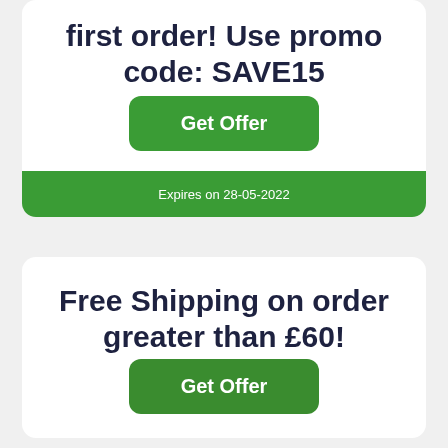first order! Use promo code: SAVE15
Get Offer
Expires on 28-05-2022
Free Shipping on order greater than £60!
Get Offer